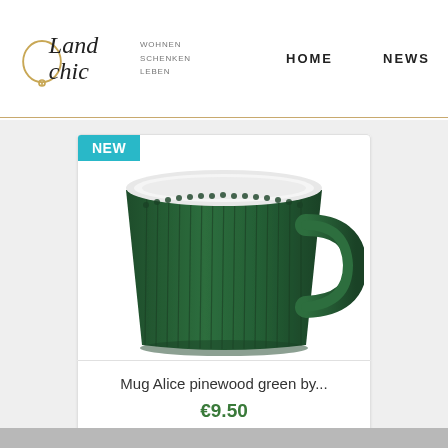Land chic — WOHNEN SCHENKEN LEBEN — HOME — NEWS
[Figure (photo): Dark green ribbed ceramic mug with white interior and handle, shown on white background with a cyan NEW badge in top-left corner]
Mug Alice pinewood green by...
€9.50